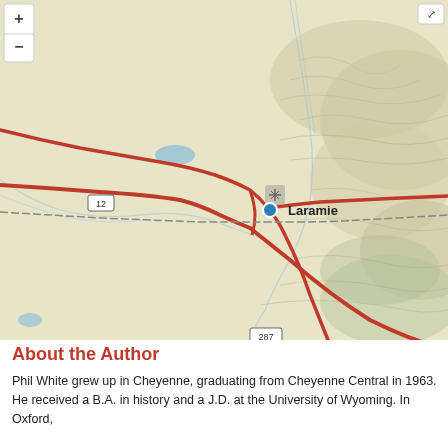[Figure (map): Topographic map centered on Laramie, Wyoming, showing roads including route 12 and 287, terrain, rivers, and surrounding landscape. A blue location pin marks Laramie city center.]
About the Author
Phil White grew up in Cheyenne, graduating from Cheyenne Central in 1963. He received a B.A. in history and a J.D. at the University of Wyoming. In Oxford,